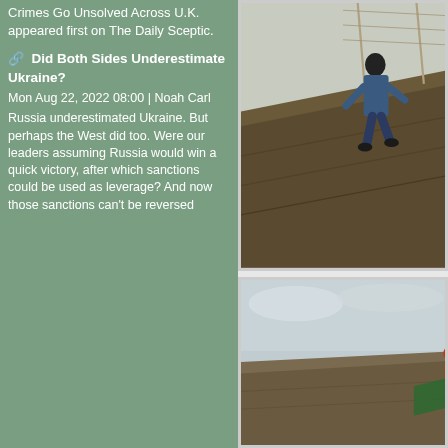Crimes Go Unsolved Across U.K. appeared first on The Daily Sceptic.
Did Both Sides Underestimate Ukraine? Mon Aug 22, 2022 08:00 | Noah Carl
Russia underestimated Ukraine. But perhaps the West did too. Were our leaders assuming Russia would win a quick victory, after which sanctions could be used as leverage? And now those sanctions can't be reversed
[Figure (photo): Person in dark blue overalls and black balaclava walking up a steep dirt/gravel embankment with a fence in the background]
[Figure (photo): Another outdoor scene showing a mound or embankment with overcast sky and what appears to be a person or equipment at the right edge]